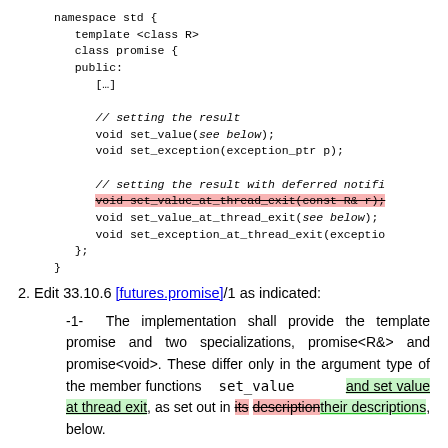namespace std {
   template <class R>
   class promise {
   public:
      […]

      // setting the result
      void set_value(see below);
      void set_exception(exception_ptr p);

      // setting the result with deferred notifi
      void set_value_at_thread_exit(const R& r);  [strikethrough-red]
      void set_value_at_thread_exit(see below);
      void set_exception_at_thread_exit(exceptio
   };
}
2. Edit 33.10.6 [futures.promise]/1 as indicated:
-1- The implementation shall provide the template promise and two specializations, promise<R&> and promise<void>. These differ only in the argument type of the member functions set_value and set value at thread exit, as set out in its description their descriptions, below.